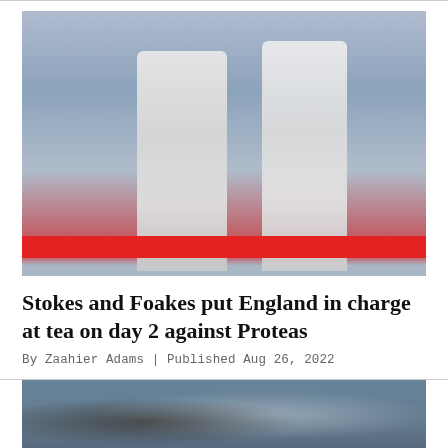[Figure (photo): Two England cricket players in white uniforms walking on the field, one carrying a bat, with a crowd in the background and a red advertising banner at the bottom.]
Stokes and Foakes put England in charge at tea on day 2 against Proteas
By Zaahier Adams | Published Aug 26, 2022
[Figure (photo): Cricket players on the field with crowd visible in background, partial view.]